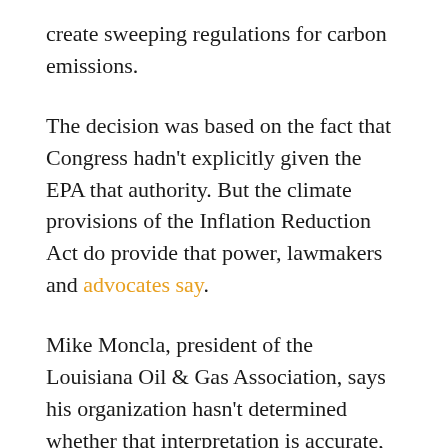create sweeping regulations for carbon emissions.
The decision was based on the fact that Congress hadn't explicitly given the EPA that authority. But the climate provisions of the Inflation Reduction Act do provide that power, lawmakers and advocates say.
Mike Moncla, president of the Louisiana Oil & Gas Association, says his organization hasn't determined whether that interpretation is accurate, but says it would come as no surprise and speaks to why LOGA opposed the legislation. He says the Biden administration has consistently made drilling and refining more difficult and expensive.